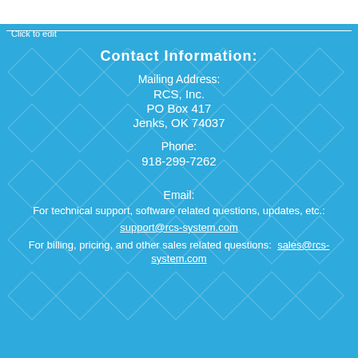Click to edit
Contact Information:
Mailing Address:
RCS, Inc.
PO Box 417
Jenks, OK 74037
Phone:
918-299-7262
Email:
For technical support, software related questions, updates, etc.:
support@rcs-system.com
For billing, pricing, and other sales related questions: sales@rcs-system.com